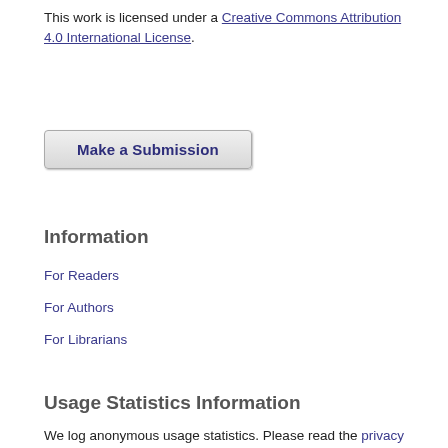This work is licensed under a Creative Commons Attribution 4.0 International License.
Make a Submission
Information
For Readers
For Authors
For Librarians
Usage Statistics Information
We log anonymous usage statistics. Please read the privacy